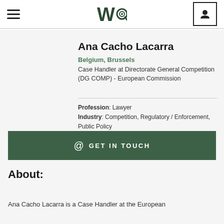Wa@ [logo] navigation header with hamburger menu and user icon
Ana Cacho Lacarra
Belgium, Brussels
Case Handler at Directorate General Competition (DG COMP) - European Commission
Profession: Lawyer
Industry: Competition, Regulatory / Enforcement, Public Policy
@ GET IN TOUCH
About:
Ana Cacho Lacarra is a Case Handler at the European